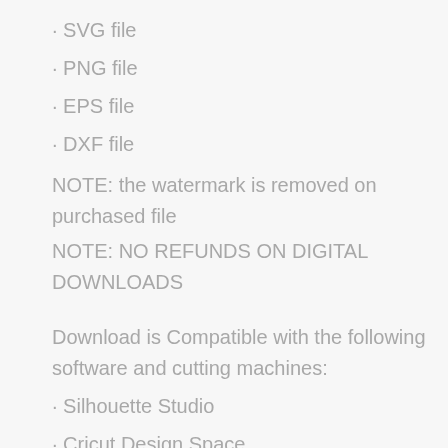· SVG file
· PNG file
· EPS file
· DXF file
NOTE: the watermark is removed on purchased file
NOTE: NO REFUNDS ON DIGITAL DOWNLOADS
Download is Compatible with the following software and cutting machines:
· Silhouette Studio
· Cricut Design Space
· Scan N Cut
· Adobe Illustrator